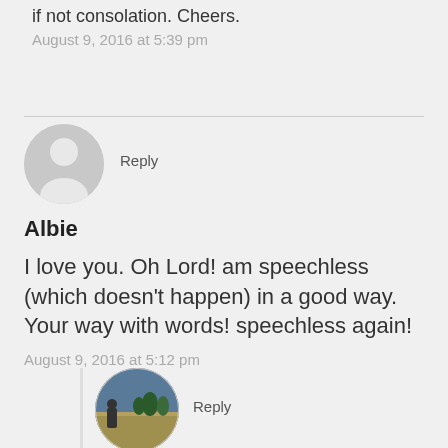if not consolation. Cheers.
August 9, 2016 at 5:39 pm
Reply
Albie
I love you. Oh Lord! am speechless (which doesn't happen) in a good way. Your way with words! speechless again!
August 9, 2016 at 5:12 pm
Reply